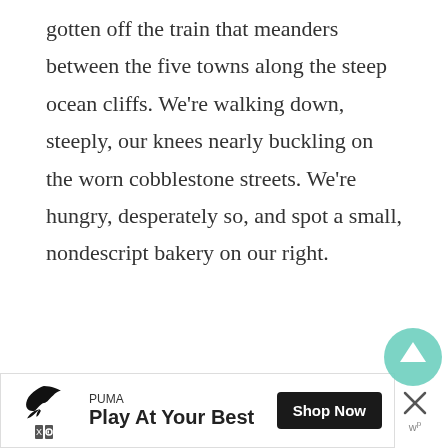gotten off the train that meanders between the five towns along the steep ocean cliffs. We're walking down, steeply, our knees nearly buckling on the worn cobblestone streets. We're hungry, desperately so, and spot a small, nondescript bakery on our right.
[Figure (other): Advertisement placeholder box with 'ADVERTISEMENT' label, followed by a Puma ad banner at the bottom showing Puma logo, 'Play At Your Best' tagline, and 'Shop Now' button]